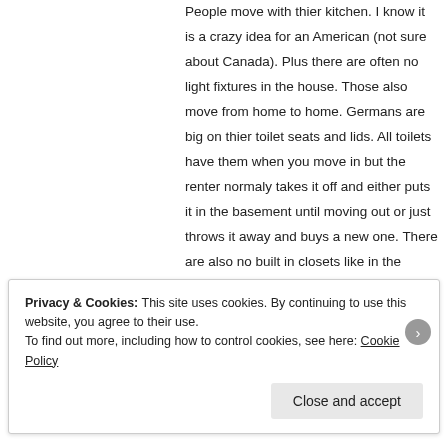People move with thier kitchen. I know it is a crazy idea for an American (not sure about Canada). Plus there are often no light fixtures in the house. Those also move from home to home. Germans are big on thier toilet seats and lids. All toilets have them when you move in but the renter normaly takes it off and either puts it in the basement until moving out or just throws it away and buys a new one. There are also no built in closets like in the U.S.A.

There are rules about leasing. You have to give at least 3 months notice before moving out. If you move out sooner you must still pay the three
Privacy & Cookies: This site uses cookies. By continuing to use this website, you agree to their use.
To find out more, including how to control cookies, see here: Cookie Policy